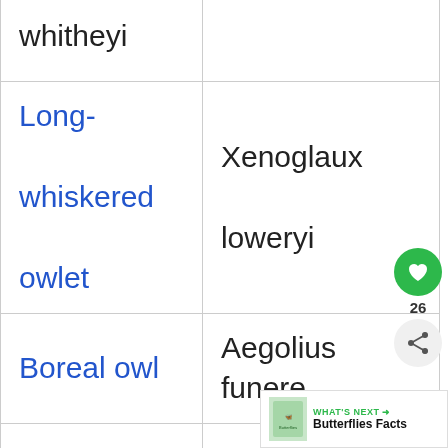| Common name | Scientific name |
| --- | --- |
| whitheyi |  |
| Long-whiskered owlet | Xenoglaux loweryi |
| Boreal owl | Aegolius funereus |
| Northern saw-whet | Aegolius |